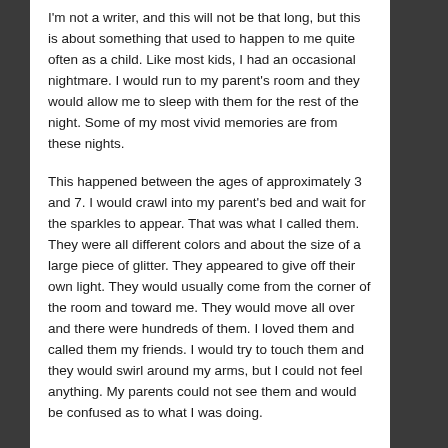I'm not a writer, and this will not be that long, but this is about something that used to happen to me quite often as a child. Like most kids, I had an occasional nightmare. I would run to my parent's room and they would allow me to sleep with them for the rest of the night. Some of my most vivid memories are from these nights.
This happened between the ages of approximately 3 and 7. I would crawl into my parent's bed and wait for the sparkles to appear. That was what I called them. They were all different colors and about the size of a large piece of glitter. They appeared to give off their own light. They would usually come from the corner of the room and toward me. They would move all over and there were hundreds of them. I loved them and called them my friends. I would try to touch them and they would swirl around my arms, but I could not feel anything. My parents could not see them and would be confused as to what I was doing.